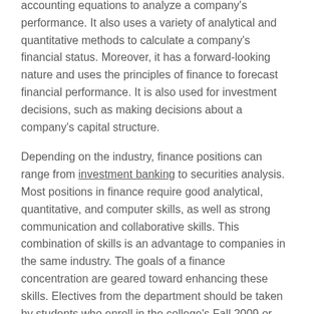accounting equations to analyze a company's performance. It also uses a variety of analytical and quantitative methods to calculate a company's financial status. Moreover, it has a forward-looking nature and uses the principles of finance to forecast financial performance. It is also used for investment decisions, such as making decisions about a company's capital structure.
Depending on the industry, finance positions can range from investment banking to securities analysis. Most positions in finance require good analytical, quantitative, and computer skills, as well as strong communication and collaborative skills. This combination of skills is an advantage to companies in the same industry. The goals of a finance concentration are geared toward enhancing these skills. Electives from the department should be taken by students who enroll in the college's Fall 2009 or later.